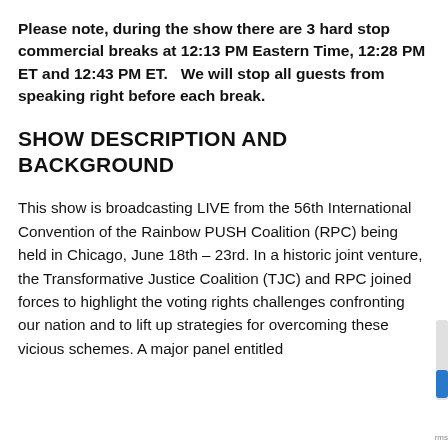Please note, during the show there are 3 hard stop commercial breaks at 12:13 PM Eastern Time, 12:28 PM ET and 12:43 PM ET.   We will stop all guests from speaking right before each break.
SHOW DESCRIPTION AND BACKGROUND
This show is broadcasting LIVE from the 56th International Convention of the Rainbow PUSH Coalition (RPC) being held in Chicago, June 18th – 23rd. In a historic joint venture, the Transformative Justice Coalition (TJC) and RPC joined forces to highlight the voting rights challenges confronting our nation and to lift up strategies for overcoming these vicious schemes. A major panel entitled